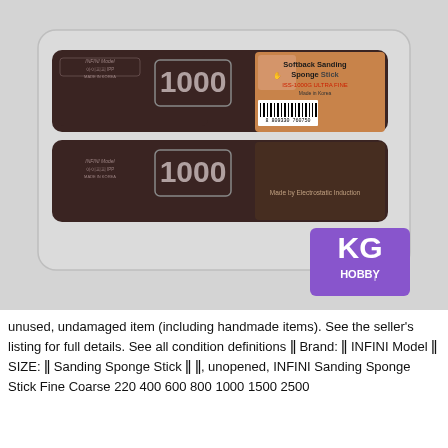[Figure (photo): Product photo of two INFINI Model Softback Sanding Sponge Sticks (grit 1000, ultra fine) in clear plastic packaging, with KG Hobby retailer logo in bottom-right corner. The sticks are dark brown/maroon colored with silver text showing '1000' and the INFINI Model branding. The packaging label shows 'Softback Sanding Sponge Stick ISS-1000G ULTRA FINE Made in Korea' with a barcode and 'Made by Electrostatic Induction' text.]
unused, undamaged item (including handmade items). See the seller's listing for full details. See all condition definitions ǁ Brand: ǁ INFINI Model ǁ SIZE: ǁ Sanding Sponge Stick ǁ ǁ, unopened, INFINI Sanding Sponge Stick Fine Coarse 220 400 600 800 1000 1500 2500